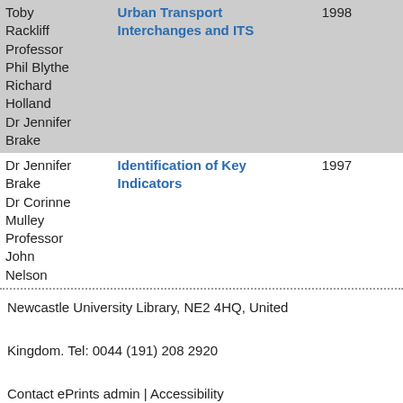| Author | Title | Year |
| --- | --- | --- |
| Toby Rackliff
Professor Phil Blythe
Richard Holland
Dr Jennifer Brake | Urban Transport Interchanges and ITS | 1998 |
| Dr Jennifer Brake
Dr Corinne Mulley
Professor John Nelson | Identification of Key Indicators | 1997 |
Newcastle University Library, NE2 4HQ, United Kingdom. Tel: 0044 (191) 208 2920
Contact ePrints admin | Accessibility